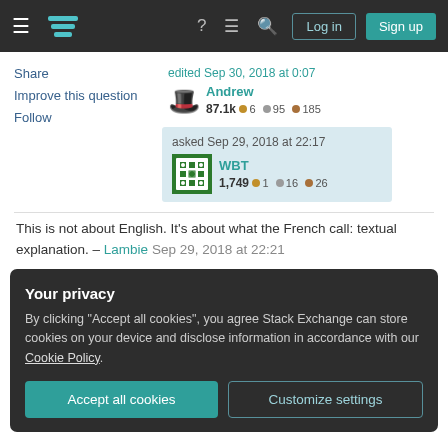Stack Exchange navigation bar with Log in and Sign up buttons
Share | Improve this question | Follow
edited Sep 30, 2018 at 0:07 | Andrew | 87.1k | 6 gold | 95 silver | 185 bronze
asked Sep 29, 2018 at 22:17 | WBT | 1,749 | 1 gold | 16 silver | 26 bronze
This is not about English. It's about what the French call: textual explanation. – Lambie Sep 29, 2018 at 22:21
Your privacy
By clicking "Accept all cookies", you agree Stack Exchange can store cookies on your device and disclose information in accordance with our Cookie Policy.
Accept all cookies | Customize settings